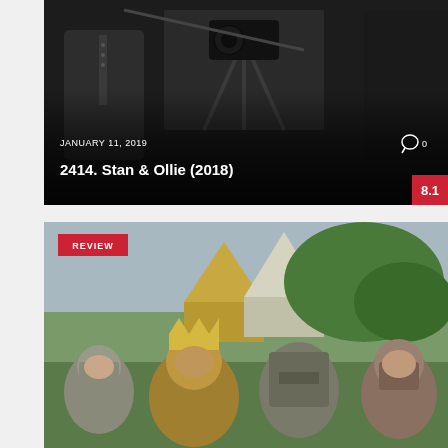[Figure (photo): Behind-the-scenes film set photo showing people near a large film camera in dark clothing. Date shown: JANUARY 11, 2019. Comment count: 0. Title overlay: 2414. Stan & Ollie (2018). Rating badge showing 8.1.]
[Figure (photo): Medieval scene from Monty Python film showing actors in chainmail and armor looking upward, with a crowned king figure in the center. Red REVIEW badge in top left corner.]